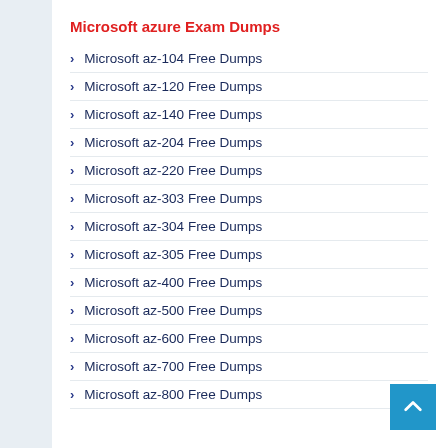Microsoft azure Exam Dumps
Microsoft az-104 Free Dumps
Microsoft az-120 Free Dumps
Microsoft az-140 Free Dumps
Microsoft az-204 Free Dumps
Microsoft az-220 Free Dumps
Microsoft az-303 Free Dumps
Microsoft az-304 Free Dumps
Microsoft az-305 Free Dumps
Microsoft az-400 Free Dumps
Microsoft az-500 Free Dumps
Microsoft az-600 Free Dumps
Microsoft az-700 Free Dumps
Microsoft az-800 Free Dumps